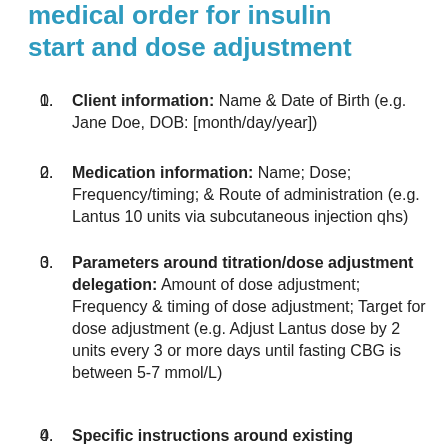medical order for insulin start and dose adjustment
Client information: Name & Date of Birth (e.g. Jane Doe, DOB: [month/day/year])
Medication information: Name; Dose; Frequency/timing; & Route of administration (e.g. Lantus 10 units via subcutaneous injection qhs)
Parameters around titration/dose adjustment delegation: Amount of dose adjustment; Frequency & timing of dose adjustment; Target for dose adjustment (e.g. Adjust Lantus dose by 2 units every 3 or more days until fasting CBG is between 5-7 mmol/L)
Specific instructions around existing